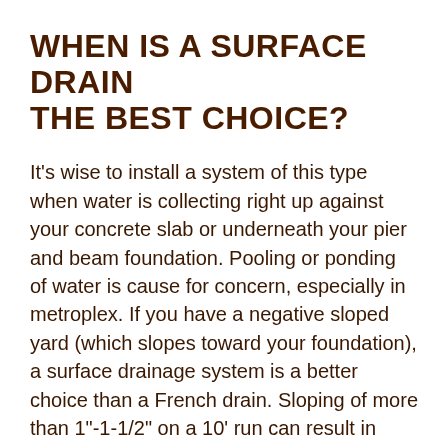WHEN IS A SURFACE DRAIN THE BEST CHOICE?
It's wise to install a system of this type when water is collecting right up against your concrete slab or underneath your pier and beam foundation. Pooling or ponding of water is cause for concern, especially in metroplex. If you have a negative sloped yard (which slopes toward your foundation), a surface drainage system is a better choice than a French drain. Sloping of more than 1"-1-1/2" on a 10' run can result in excessive amounts of water seeping beneath your house. If the soil around your foundation always seems to be damp, the high moisture content in the dirt